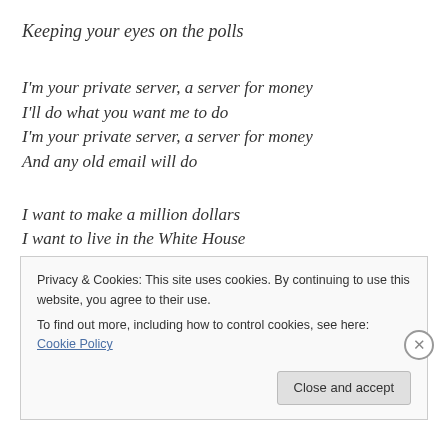Keeping your eyes on the polls
I'm your private server, a server for money
I'll do what you want me to do
I'm your private server, a server for money
And any old email will do
I want to make a million dollars
I want to live in the White House
Have a husband and some children
Yeah, I guess I want immunity too
Privacy & Cookies: This site uses cookies. By continuing to use this website, you agree to their use.
To find out more, including how to control cookies, see here: Cookie Policy
Close and accept